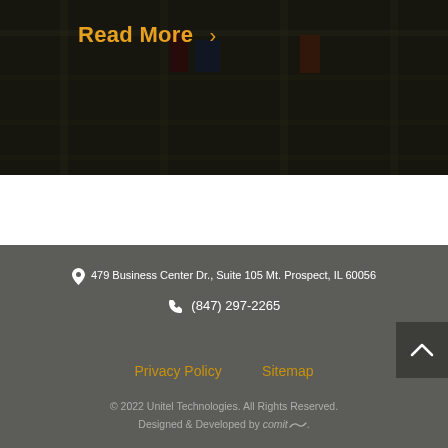[Figure (photo): Blurred industrial/warehouse shelving background with dark overlay]
Read More >
479 Business Center Dr., Suite 105 Mt. Prospect, IL 60056
(847) 297-2265
Privacy Policy   Sitemap
© 2022 Unitel Technologies. All Rights Reserved. Designed & Developed by comit.